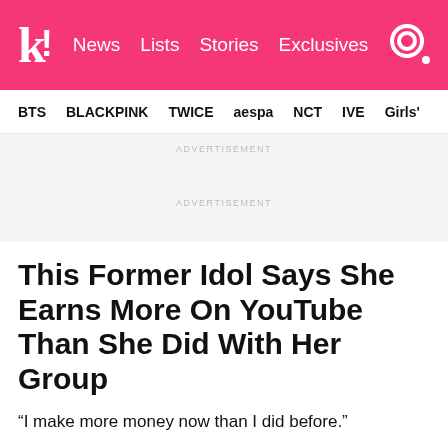kk! News Lists Stories Exclusives
BTS BLACKPINK TWICE aespa NCT IVE Girls'
ADVERTISEMENT
ADVERTISEMENT
This Former Idol Says She Earns More On YouTube Than She Did With Her Group
“I make more money now than I did before.”